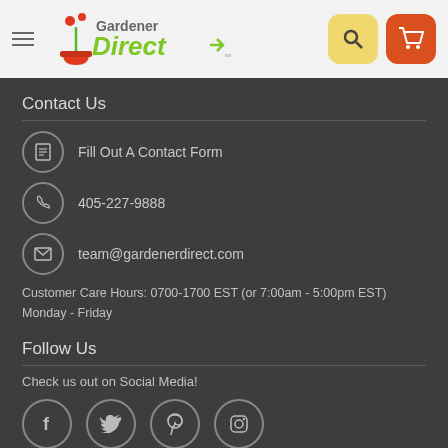[Figure (logo): Gardener Direct logo with plant/pot icon and green text]
Contact Us
Fill Out A Contact Form
405-227-9888
team@gardenerdirect.com
Customer Care Hours: 0700-1700 EST (or 7:00am - 5:00pm EST)
Monday - Friday
Follow Us
Check us out on Social Media!
[Figure (illustration): Social media icons: Facebook, Twitter, Pinterest, Instagram in circle outlines]